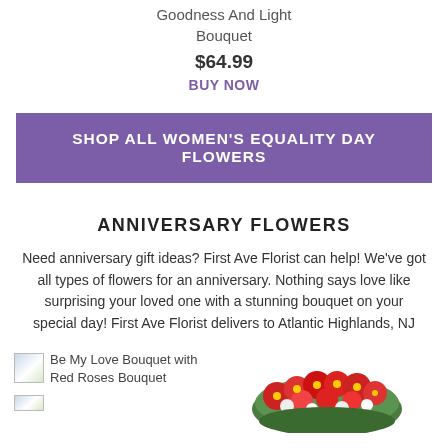Goodness And Light Bouquet
$64.99
BUY NOW
SHOP ALL WOMEN'S EQUALITY DAY FLOWERS
ANNIVERSARY FLOWERS
Need anniversary gift ideas? First Ave Florist can help! We've got all types of flowers for an anniversary. Nothing says love like surprising your loved one with a stunning bouquet on your special day! First Ave Florist delivers to Atlantic Highlands, NJ
[Figure (photo): Broken/placeholder image icon for Be My Love Bouquet with Red Roses Bouquet]
Be My Love Bouquet with Red Roses Bouquet
[Figure (photo): Photo of a red and white floral arrangement bouquet]